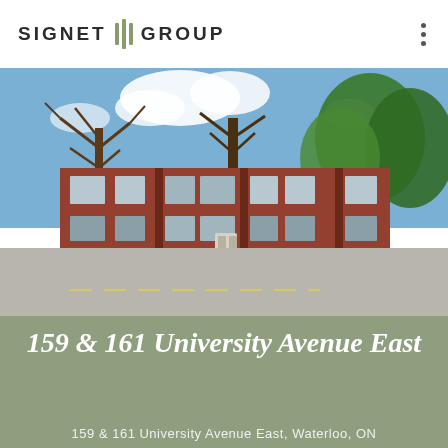SIGNET GROUP
[Figure (photo): Exterior photo of a 3-storey red brick apartment building at 159 & 161 University Avenue East, Waterloo ON, with green lawn in front and trees surrounding the building, street visible in foreground]
159 & 161 University Avenue East
159 & 161 University Avenue East, Waterloo, ON